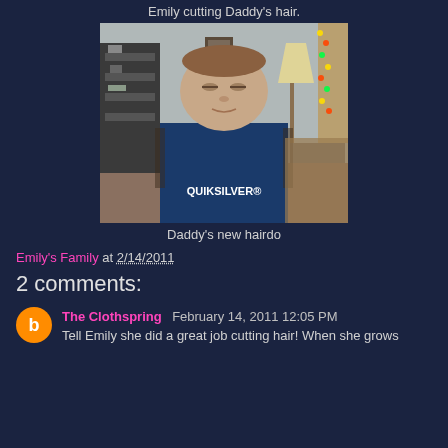Emily cutting Daddy's hair.
[Figure (photo): A man wearing a dark blue Quiksilver sweatshirt sitting in a room with shelves, a lamp with lights, and patterned furniture. His hair has been recently cut.]
Daddy's new hairdo
Emily's Family at 2/14/2011
2 comments:
The Clothspring February 14, 2011 12:05 PM
Tell Emily she did a great job cutting hair! When she grows